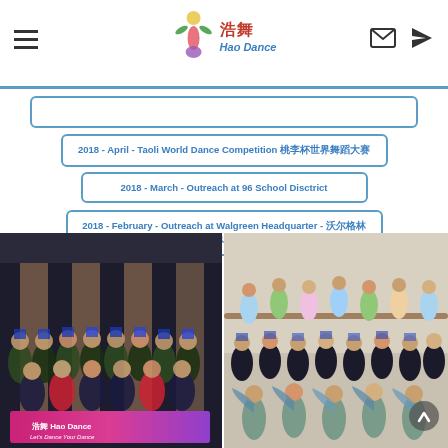Hao Dance
2018 - April - Taoli World Dance Competition 桃李杯世界舞蹈大赛
2018 - March - Outreach at 96 School Disctrict
2018 - February - Outreach at Walgreen Headquarter - 沃尔格林总部
[Figure (photo): Group photo of Hao Dance performers in blue headdresses and costumes holding a Hao Dance banner]
[Figure (photo): Hao Dance performers in a studio performing Chinese dance routines in various colorful costumes]